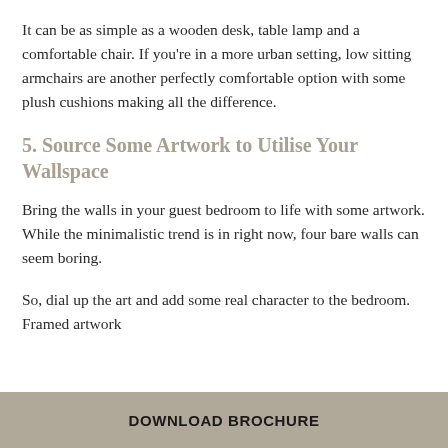It can be as simple as a wooden desk, table lamp and a comfortable chair. If you're in a more urban setting, low sitting armchairs are another perfectly comfortable option with some plush cushions making all the difference.
5. Source Some Artwork to Utilise Your Wallspace
Bring the walls in your guest bedroom to life with some artwork. While the minimalistic trend is in right now, four bare walls can seem boring.
So, dial up the art and add some real character to the bedroom. Framed artwork
DOWNLOAD BROCHURE